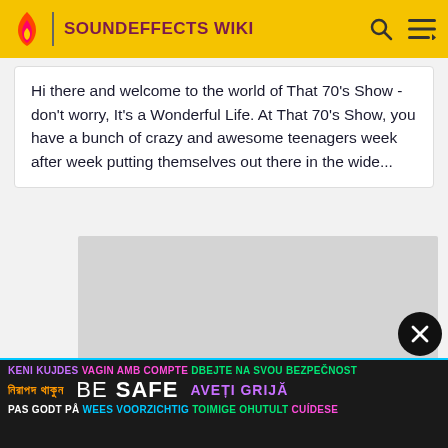SOUNDEFFECTS WIKI
Hi there and welcome to the world of That 70's Show - don't worry, It's a Wonderful Life. At That 70's Show, you have a bunch of crazy and awesome teenagers week after week putting themselves out there in the wide...
[Figure (other): Gray placeholder image / advertisement area]
[Figure (infographic): BE SAFE multilingual safety banner with text in multiple languages: KENI KUJDES, VAGIN AMB COMPTE, DBEJTE NA SVOU BEZPEČNOST, নিরাপদ থাকুন, BE SAFE, AVEȚI GRIJĂ, PAS GODT PÅ, WEES VOORZICHTIG, TOIMIGE OHUTULT, CUÍDESE]